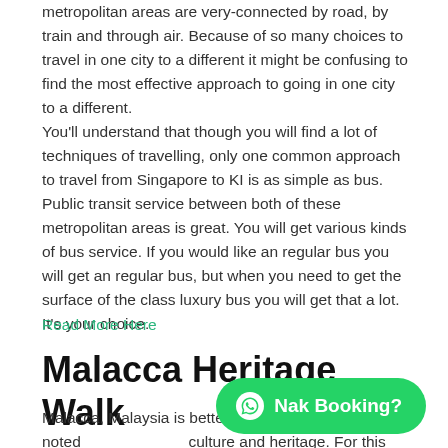metropolitan areas are very-connected by road, by train and through air. Because of so many choices to travel in one city to a different it might be confusing to find the most effective approach to going in one city to a different.
You'll understand that though you will find a lot of techniques of travelling, only one common approach to travel from Singapore to KI is as simple as bus. Public transit service between both of these metropolitan areas is great. You will get various kinds of bus service. If you would like an regular bus you will get an regular bus, but when you need to get the surface of the class luxury bus you will get that a lot. It's your choice.
Read More Here
Malacca Heritage Walk
Malacca, Malaysia is better noted culture and heritage. For this reason Malacca gained its